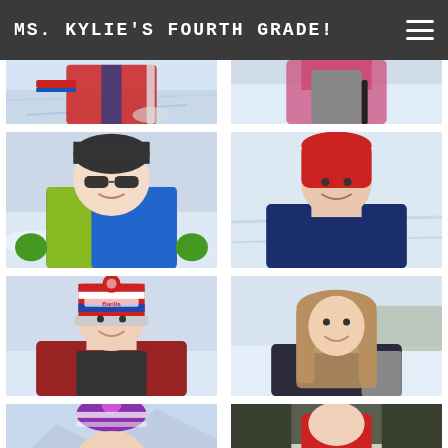Ms. Kylie's Fourth Grade!
[Figure (photo): Two cropped winter/ski photos at top: left shows ski equipment with red/blue jacket in snow; right shows child in pink/grey jacket holding something dark]
[Figure (photo): Child in dark beanie with sunglasses smiling in snowy setting, wearing blue and yellow/green jacket with green gloves]
[Figure (photo): Child wearing red knit hat in snowy setting, wearing dark blue jacket, smiling]
[Figure (photo): Child wearing red/white/blue striped pompom hat with Barilla logo, wearing red jacket, smiling in snowy setting]
[Figure (photo): Girl with long hair in snowy setting wearing dark jacket, smiling]
[Figure (photo): Child with purple pompom hat, cropped at bottom, snowy mountain background]
[Figure (photo): Child in red jacket in darker snowy/wooded setting, cropped at bottom]